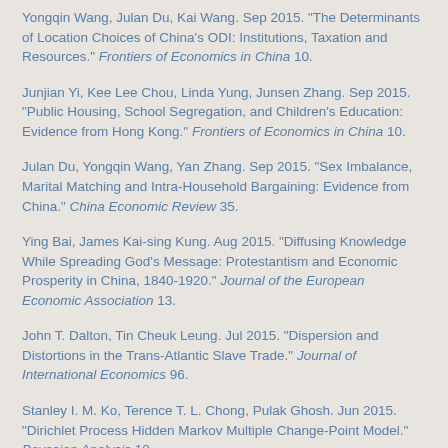Yongqin Wang, Julan Du, Kai Wang. Sep 2015. "The Determinants of Location Choices of China's ODI: Institutions, Taxation and Resources." Frontiers of Economics in China 10.
Junjian Yi, Kee Lee Chou, Linda Yung, Junsen Zhang. Sep 2015. "Public Housing, School Segregation, and Children's Education: Evidence from Hong Kong." Frontiers of Economics in China 10.
Julan Du, Yongqin Wang, Yan Zhang. Sep 2015. "Sex Imbalance, Marital Matching and Intra-Household Bargaining: Evidence from China." China Economic Review 35.
Ying Bai, James Kai-sing Kung. Aug 2015. "Diffusing Knowledge While Spreading God's Message: Protestantism and Economic Prosperity in China, 1840-1920." Journal of the European Economic Association 13.
John T. Dalton, Tin Cheuk Leung. Jul 2015. "Dispersion and Distortions in the Trans-Atlantic Slave Trade." Journal of International Economics 96.
Stanley I. M. Ko, Terence T. L. Chong, Pulak Ghosh. Jun 2015. "Dirichlet Process Hidden Markov Multiple Change-Point Model." Bayesian Analysis 10.
Yujun Lian, Terence Tai-Leung Chong, Fangping Peng, Richard J.